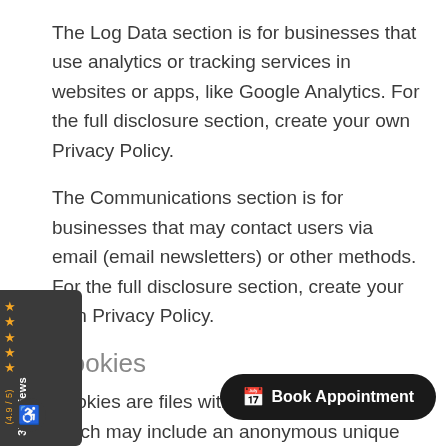The Log Data section is for businesses that use analytics or tracking services in websites or apps, like Google Analytics. For the full disclosure section, create your own Privacy Policy.
The Communications section is for businesses that may contact users via email (email newsletters) or other methods. For the full disclosure section, create your own Privacy Policy.
Cookies
Cookies are files with small amount of data, which may include an anonymous unique identifier. Cookies are sent to your browser from a web site and stored on your computer.